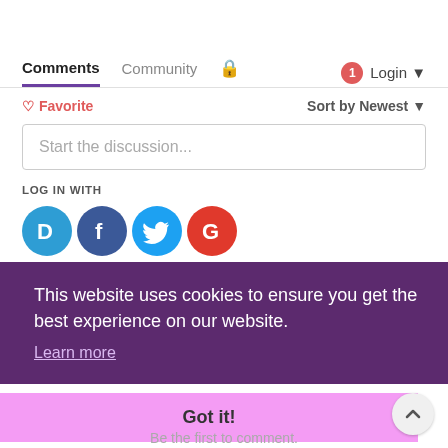Comments  Community  [lock icon]  1  Login
Favorite  Sort by Newest
Start the discussion...
LOG IN WITH
[Figure (logo): Social login icons: Disqus (D), Facebook (f), Twitter bird, Google (G)]
This website uses cookies to ensure you get the best experience on our website.
Learn more
Got it!
Be the first to comment.